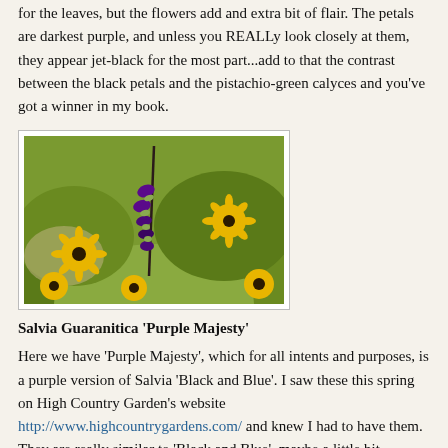for the leaves, but the flowers add and extra bit of flair. The petals are darkest purple, and unless you REALLy look closely at them, they appear jet-black for the most part...add to that the contrast between the black petals and the pistachio-green calyces and you've got a winner in my book.
[Figure (photo): Photo of Salvia Guaranitica 'Purple Majesty' with deep purple flower spike against yellow rudbeckia (black-eyed Susan) flowers and green foliage]
Salvia Guaranitica 'Purple Majesty'
Here we have 'Purple Majesty', which for all intents and purposes, is a purple version of Salvia 'Black and Blue'. I saw these this spring on High Country Garden's website http://www.highcountrygardens.com/ and knew I had to have them. They are really similar to 'Black and Blue', maybe a little bit